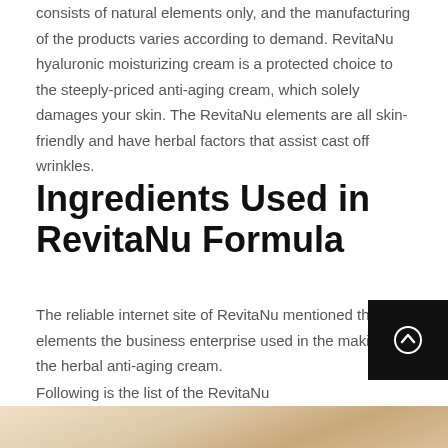consists of natural elements only, and the manufacturing of the products varies according to demand. RevitaNu hyaluronic moisturizing cream is a protected choice to the steeply-priced anti-aging cream, which solely damages your skin. The RevitaNu elements are all skin-friendly and have herbal factors that assist cast off wrinkles.
Ingredients Used in RevitaNu Formula
The reliable internet site of RevitaNu mentioned the elements the business enterprise used in the making of the herbal anti-aging cream.
Following is the list of the RevitaNu ingredients
[Figure (photo): Close-up image of cream or moisturizing product texture, beige/cream color]